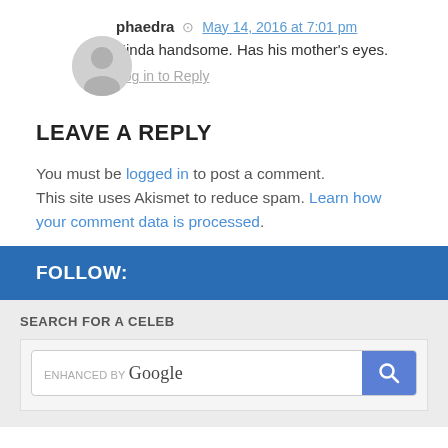phaedra — May 14, 2016 at 7:01 pm
Kinda handsome. Has his mother's eyes.
Log in to Reply
LEAVE A REPLY
You must be logged in to post a comment. This site uses Akismet to reduce spam. Learn how your comment data is processed.
FOLLOW:
SEARCH FOR A CELEB
[Figure (screenshot): Google enhanced search box with a blue search button containing a magnifying glass icon]